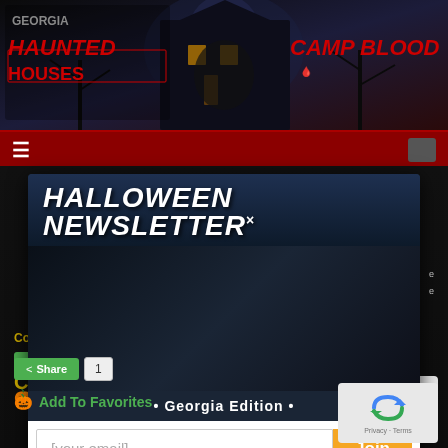[Figure (screenshot): Georgia Haunted Houses website header banner with dark spooky background, haunted house image, Georgia Haunted Houses logo on left, Camp Blood logo on right]
Georgia Haunted Houses | Camp Blood
[Figure (screenshot): Halloween Newsletter modal popup overlay on a dark website. Shows Halloween Newsletter title in white italic bold text with X close button. Features a glowing jack-o-lantern pumpkin image on left with spooky cemetery background. Text reads: The scariest local attractions and Halloween news to your inbox all season long. Shows bullet Georgia Edition bullet. Below is an email input field with placeholder [your email] and orange Join button. Behind modal shows partial page content including Co... text in gold and share button.]
HALLOWEEN NEWSLETTER
The scariest local attractions and Halloween news to your inbox all season long
• Georgia Edition •
[your email]
Join
Add To Favorites